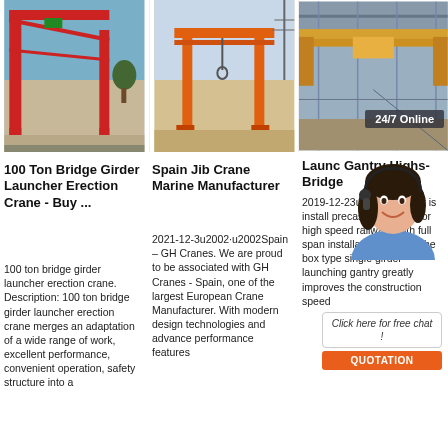[Figure (photo): Red large gantry/bridge girder launcher crane on construction site against blue sky]
[Figure (photo): Orange/red gantry crane standing on open ground with power lines in background]
[Figure (photo): Yellow overhead bridge crane inside industrial warehouse/factory building]
100 Ton Bridge Girder Launcher Erection Crane - Buy ...
100 ton bridge girder launcher erection crane. Description: 100 ton bridge girder launcher erection crane merges an adaptation of a wide range of work, excellent performance, convenient operation, safety structure into a
Spain Jib Crane Marine Manufacturer
2021-12-3u2002·u2002Spain – GH Cranes. We are proud to be associated with GH Cranes - Spain, one of the largest European Crane Manufacturer. With modern design technologies and advance performance features
Launc Gantry Highs- Bridge
2019-12-23u2002... gantry is install precast box girder for high speed railway. With full span installation method, the box type single girder launching gantry greatly improves the construction speed
24/7 Online
Click here for free chat !
QUOTATION